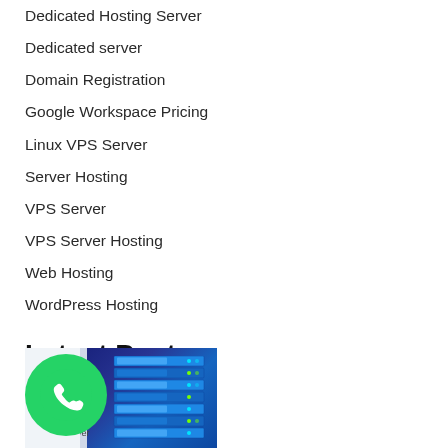Dedicated Hosting Server
Dedicated server
Domain Registration
Google Workspace Pricing
Linux VPS Server
Server Hosting
VPS Server
VPS Server Hosting
Web Hosting
WordPress Hosting
Latest Posts
[Figure (photo): WhatsApp icon overlaid on a server/hosting image with text 'be Server']